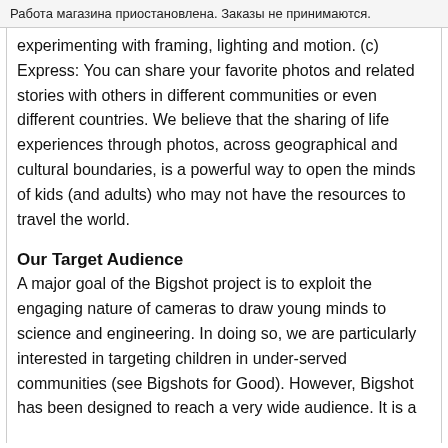Работа магазина приостановлена. Заказы не принимаются.
experimenting with framing, lighting and motion. (c) Express: You can share your favorite photos and related stories with others in different communities or even different countries. We believe that the sharing of life experiences through photos, across geographical and cultural boundaries, is a powerful way to open the minds of kids (and adults) who may not have the resources to travel the world.
Our Target Audience
A major goal of the Bigshot project is to exploit the engaging nature of cameras to draw young minds to science and engineering. In doing so, we are particularly interested in targeting children in under-served communities (see Bigshots for Good). However, Bigshot has been designed to reach a very wide audience. It is a